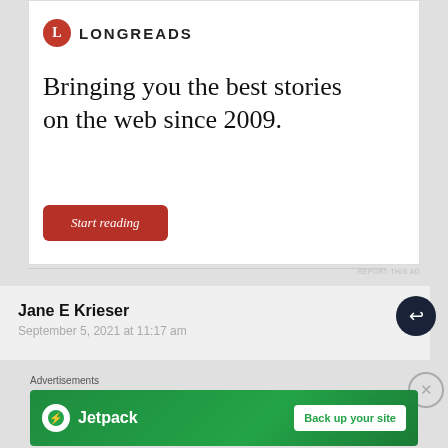[Figure (other): Longreads advertisement banner with red circle logo, tagline 'Bringing you the best stories on the web since 2009.' and a 'Start reading' button]
REPORT THIS AD
Jane E Krieser
September 5, 2021 at 11:17 am
Advertisements
[Figure (other): Jetpack advertisement banner with logo and 'Back up your site' button on green background]